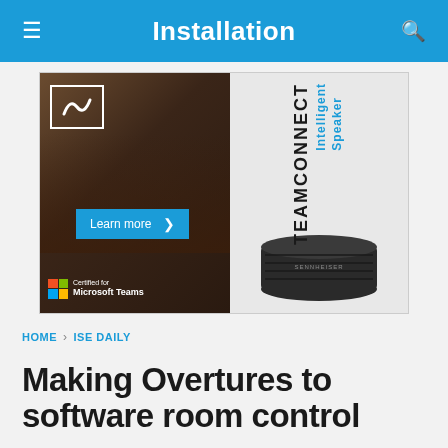Installation
[Figure (photo): Sennheiser TEAMCONNECT Intelligent Speaker advertisement. Left half shows two people in a meeting room with a 'Learn more' button and 'Certified for Microsoft Teams' badge. Right half shows the speaker device on a gray background with 'TEAMCONNECT Intelligent Speaker' text.]
HOME > ISE DAILY
Making Overtures to software room control